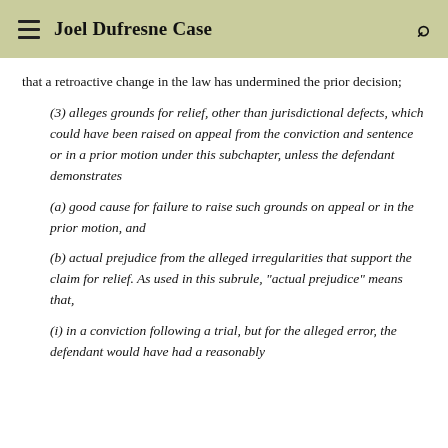Joel Dufresne Case
that a retroactive change in the law has undermined the prior decision;
(3) alleges grounds for relief, other than jurisdictional defects, which could have been raised on appeal from the conviction and sentence or in a prior motion under this subchapter, unless the defendant demonstrates
(a) good cause for failure to raise such grounds on appeal or in the prior motion, and
(b) actual prejudice from the alleged irregularities that support the claim for relief. As used in this subrule, "actual prejudice" means that,
(i) in a conviction following a trial, but for the alleged error, the defendant would have had a reasonably